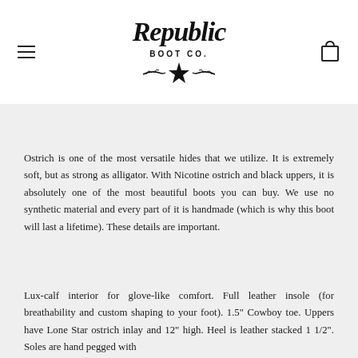[Figure (logo): Republic Boot Co. logo with cursive text and a star with decorative vines]
Ostrich is one of the most versatile hides that we utilize. It is extremely soft, but as strong as alligator.  With Nicotine ostrich and black uppers, it is absolutely one of the most beautiful boots you can buy.  We use no synthetic material and every part of it is handmade (which is why this boot will last a lifetime). These details are important.
Lux-calf interior for glove-like comfort.  Full leather insole (for breathability and custom shaping to your foot). 1.5" Cowboy toe. Uppers have Lone Star ostrich inlay and 12" high. Heel is leather stacked 1 1/2".  Soles are hand pegged with